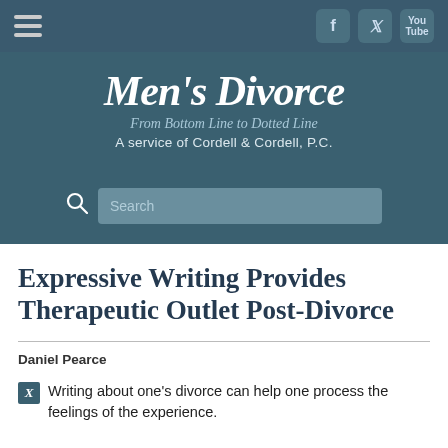[Figure (screenshot): Navigation bar with hamburger menu on left and social media icons (Facebook, Twitter, YouTube) on right, dark teal background]
Men's Divorce
From Bottom Line to Dotted Line
A service of Cordell & Cordell, P.C.
[Figure (screenshot): Search bar with magnifying glass icon and search input field on dark teal background]
Expressive Writing Provides Therapeutic Outlet Post-Divorce
Daniel Pearce
Writing about one's divorce can help one process the feelings of the experience.